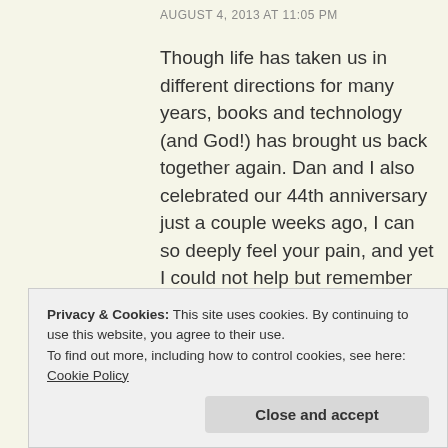AUGUST 4, 2013 AT 11:05 PM
Though life has taken us in different directions for many years, books and technology (and God!) has brought us back together again. Dan and I also celebrated our 44th anniversary just a couple weeks ago, I can so deeply feel your pain, and yet I could not help but remember the
Privacy & Cookies: This site uses cookies. By continuing to use this website, you agree to their use.
To find out more, including how to control cookies, see here: Cookie Policy
Close and accept